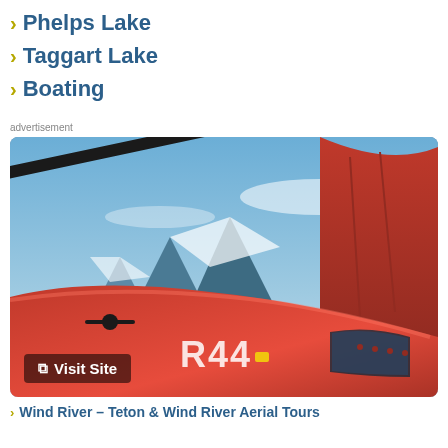Phelps Lake
Taggart Lake
Boating
advertisement
[Figure (photo): A red Robinson R44 helicopter in flight with snowy mountain peaks visible in the background against a blue sky. A 'Visit Site' button overlay is visible in the bottom left.]
Wind River – Teton & Wind River Aerial Tours